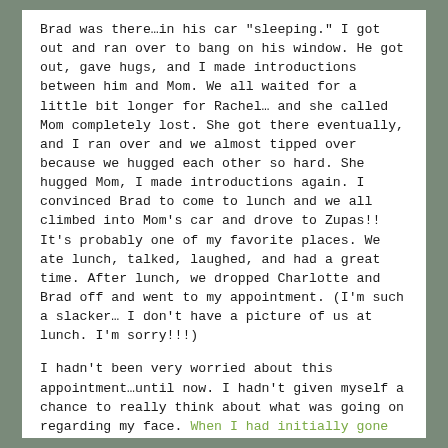Brad was there…in his car "sleeping." I got out and ran over to bang on his window. He got out, gave hugs, and I made introductions between him and Mom. We all waited for a little bit longer for Rachel… and she called Mom completely lost. She got there eventually, and I ran over and we almost tipped over because we hugged each other so hard. She hugged Mom, I made introductions again. I convinced Brad to come to lunch and we all climbed into Mom's car and drove to Zupas!! It's probably one of my favorite places. We ate lunch, talked, laughed, and had a great time. After lunch, we dropped Charlotte and Brad off and went to my appointment. (I'm such a slacker… I don't have a picture of us at lunch. I'm sorry!!!)
I hadn't been very worried about this appointment…until now. I hadn't given myself a chance to really think about what was going on regarding my face. When I had initially gone to see him, he gave me some ointment to make the sores go away…but took a biopsy of one of the spots, too, just in case. The sores went away so I almost kind of forgot that I had cancer. It's weird. Anyway, I hadn't processed the diagnosis or something so on the way to the